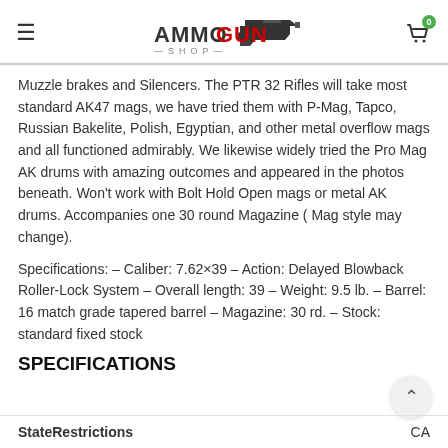AMMO GUN SHOP
Muzzle brakes and Silencers. The PTR 32 Rifles will take most standard AK47 mags, we have tried them with P-Mag, Tapco, Russian Bakelite, Polish, Egyptian, and other metal overflow mags and all functioned admirably. We likewise widely tried the Pro Mag AK drums with amazing outcomes and appeared in the photos beneath. Won't work with Bolt Hold Open mags or metal AK drums. Accompanies one 30 round Magazine ( Mag style may change).
Specifications: – Caliber: 7.62×39 – Action: Delayed Blowback Roller-Lock System – Overall length: 39 – Weight: 9.5 lb. – Barrel: 16 match grade tapered barrel – Magazine: 30 rd. – Stock: standard fixed stock
SPECIFICATIONS
| StateRestrictions | CA |
| --- | --- |